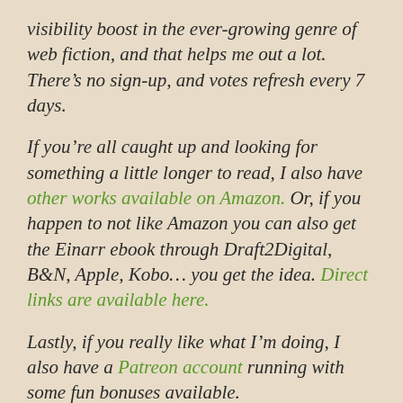visibility boost in the ever-growing genre of web fiction, and that helps me out a lot. There's no sign-up, and votes refresh every 7 days.
If you're all caught up and looking for something a little longer to read, I also have other works available on Amazon. Or, if you happen to not like Amazon you can also get the Einarr ebook through Draft2Digital, B&N, Apple, Kobo… you get the idea. Direct links are available here.
Lastly, if you really like what I'm doing, I also have a Patreon account running with some fun bonuses available.
Posted in Einarr Stigandersen,